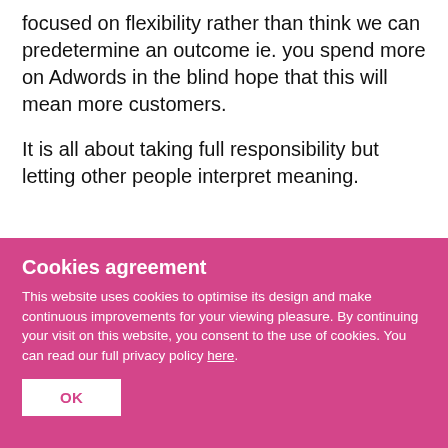focused on flexibility rather than think we can predetermine an outcome ie. you spend more on Adwords in the blind hope that this will mean more customers.
It is all about taking full responsibility but letting other people interpret meaning.
The Place & Views We All
Cookies agreement
This website uses cookies to optimise its design and make continuous improvements for your viewing pleasure. By continuing your visit on this website, you consent to the use of cookies. You can read our full privacy policy here.
OK